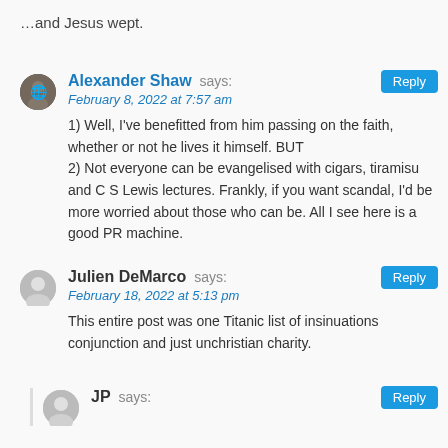…and Jesus wept.
Alexander Shaw says:
February 8, 2022 at 7:57 am
1) Well, I've benefitted from him passing on the faith, whether or not he lives it himself. BUT
2) Not everyone can be evangelised with cigars, tiramisu and C S Lewis lectures. Frankly, if you want scandal, I'd be more worried about those who can be. All I see here is a good PR machine.
Julien DeMarco says:
February 18, 2022 at 5:13 pm
This entire post was one Titanic list of insinuations conjunction and just unchristian charity.
JP says: